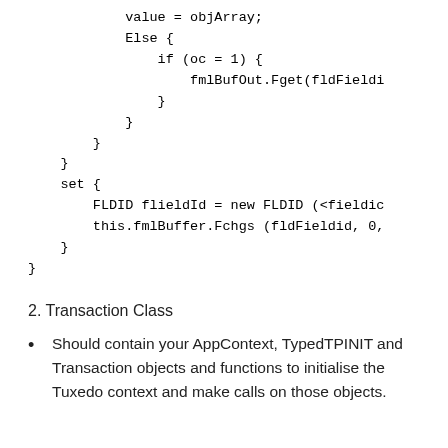value = objArray;
            Else {
                if (oc = 1) {
                    fmlBufOut.Fget(fldFieldi
                }
            }
        }
    }
    set {
        FLDID flieldId = new FLDID (<fieldic
        this.fmlBuffer.Fchgs (fldFieldid, 0,
    }
}
2. Transaction Class
Should contain your AppContext, TypedTPINIT and Transaction objects and functions to initialise the Tuxedo context and make calls on those objects.